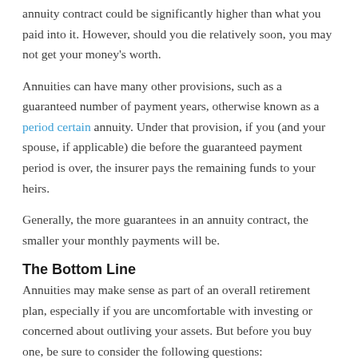annuity contract could be significantly higher than what you paid into it. However, should you die relatively soon, you may not get your money's worth.
Annuities can have many other provisions, such as a guaranteed number of payment years, otherwise known as a period certain annuity. Under that provision, if you (and your spouse, if applicable) die before the guaranteed payment period is over, the insurer pays the remaining funds to your heirs.
Generally, the more guarantees in an annuity contract, the smaller your monthly payments will be.
The Bottom Line
Annuities may make sense as part of an overall retirement plan, especially if you are uncomfortable with investing or concerned about outliving your assets. But before you buy one, be sure to consider the following questions:
Will you use the annuity primarily to save for